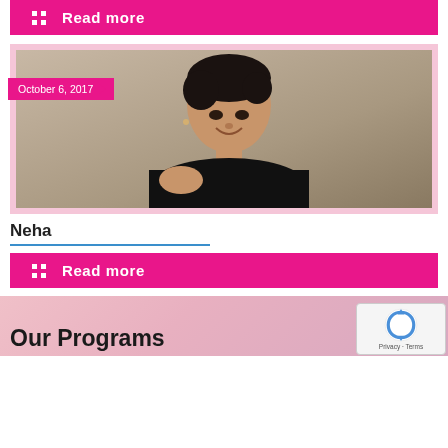Read more
[Figure (photo): Portrait photo of a woman named Neha, smiling, wearing black, with short dark hair and bracelets. Date badge reads October 6, 2017.]
October 6, 2017
Neha
Read more
Our Programs